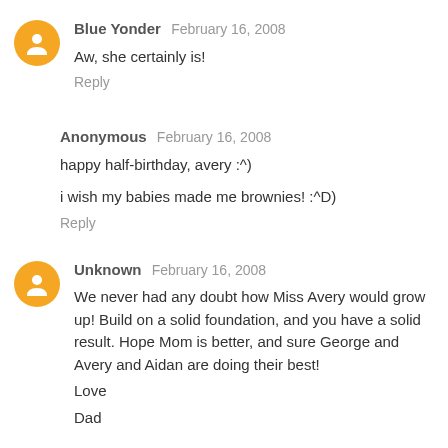Blue Yonder  February 16, 2008
Aw, she certainly is!
Reply
Anonymous  February 16, 2008
happy half-birthday, avery :^)
i wish my babies made me brownies! :^D)
Reply
Unknown  February 16, 2008
We never had any doubt how Miss Avery would grow up! Build on a solid foundation, and you have a solid result. Hope Mom is better, and sure George and Avery and Aidan are doing their best!
Love
Dad